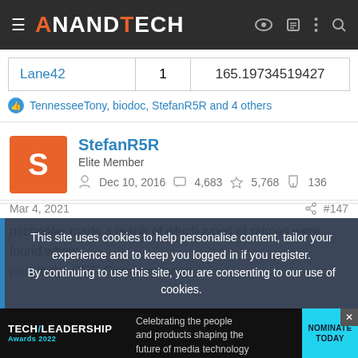AnandTech
| Username | Count | Value |
| --- | --- | --- |
| Lane42 | 1 | 165.19734519427 |
TennesseeTony, biodoc, StefanR5R and 4 others
StefanR5R
Elite Member
Dec 10, 2016  4,683  5,768  136
Mar 4, 2021  #147
pschoefer made a graph of which types of primes were found when:
post in the SETI.Germany forum
This site uses cookies to help personalise content, tailor your experience and to keep you logged in if you register.
By continuing to use this site, you are consenting to our use of cookies.
[Figure (infographic): TECH/LEADERSHIP Awards 2022 advertisement banner: Celebrating the people and products shaping the future of media technology. NOMINATE TODAY button.]